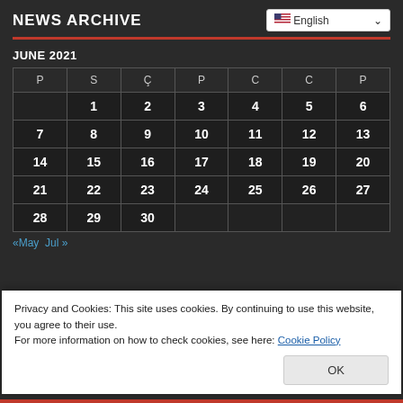NEWS ARCHIVE
JUNE 2021
| P | S | Ç | P | C | C | P |
| --- | --- | --- | --- | --- | --- | --- |
|  | 1 | 2 | 3 | 4 | 5 | 6 |
| 7 | 8 | 9 | 10 | 11 | 12 | 13 |
| 14 | 15 | 16 | 17 | 18 | 19 | 20 |
| 21 | 22 | 23 | 24 | 25 | 26 | 27 |
| 28 | 29 | 30 |  |  |  |  |
«May  Jul »
Privacy and Cookies: This site uses cookies. By continuing to use this website, you agree to their use.
For more information on how to check cookies, see here: Cookie Policy